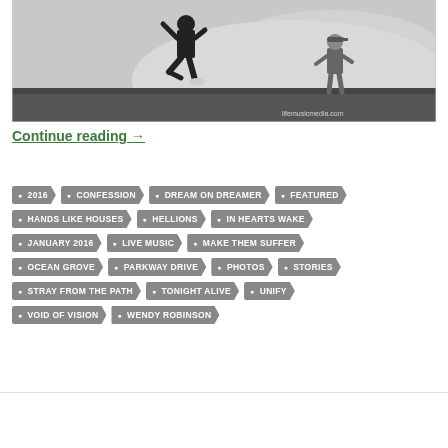[Figure (photo): Concert photo showing a performer jumping on stage with smoke in the background and another person visible to the right. Watermark reads lifemusicmedia.com]
Continue reading →
2016
CONFESSION
DREAM ON DREAMER
FEATURED
HANDS LIKE HOUSES
HELLIONS
IN HEARTS WAKE
JANUARY 2016
LIVE MUSIC
MAKE THEM SUFFER
OCEAN GROVE
PARKWAY DRIVE
PHOTOS
STORIES
STRAY FROM THE PATH
TONIGHT ALIVE
UNIFY
VOID OF VISION
WENDY ROBINSON